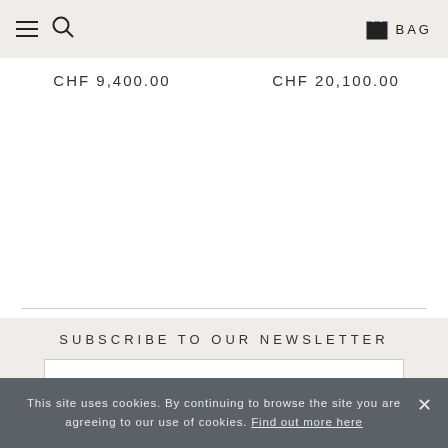≡ 🔍 BAG
CHF 9,400.00
CHF 20,100.00
SUBSCRIBE TO OUR NEWSLETTER
Title
This site uses cookies. By continuing to browse the site you are agreeing to our use of cookies. Find out more here